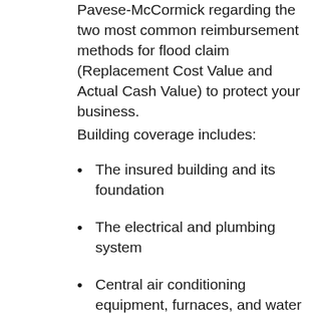Pavese-McCormick regarding the two most common reimbursement methods for flood claim (Replacement Cost Value and Actual Cash Value) to protect your business.
Building coverage includes:
The insured building and its foundation
The electrical and plumbing system
Central air conditioning equipment, furnaces, and water heaters
Refrigerators, cooking stoves, and